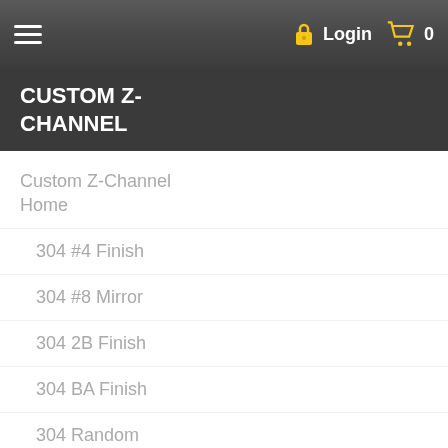Login  0
CUSTOM Z-CHANNEL
Custom Z-Channel Home
304 #4 Finish
304 #8 Mirror
304 2B Finish
304 BA Finish
304 Random Swirl
2" Classic Engine Turn
t Calculator
A = 0"
[Figure (engineering-diagram): Z-channel cross-section diagram with dimension arrows]